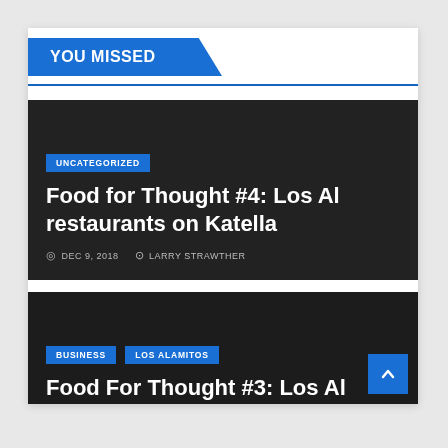YOU MISSED
Food for Thought #4: Los Al restaurants on Katella
UNCATEGORIZED
DEC 9, 2018   LARRY STRAWTHER
BUSINESS   LOS ALAMITOS
Food For Thought #3: Los Al